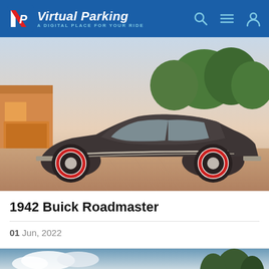Virtual Parking — A DIGITAL PLACE FOR YOUR RIDE
[Figure (photo): Side profile of a 1942 Buick Roadmaster classic car with red-and-white whitewall tires, dark grey/brown body, parked on a decorative brick driveway in front of a house with trees and a garage.]
1942 Buick Roadmaster
01 Jun, 2022
[Figure (photo): Partial view of another vehicle listing photo, showing sky and trees.]